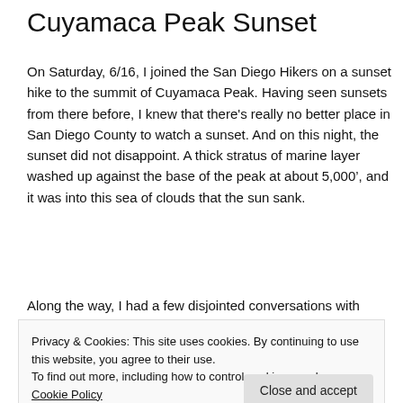Cuyamaca Peak Sunset
On Saturday, 6/16, I joined the San Diego Hikers on a sunset hike to the summit of Cuyamaca Peak. Having seen sunsets from there before, I knew that there's really no better place in San Diego County to watch a sunset. And on this night, the sunset did not disappoint. A thick stratus of marine layer washed up against the base of the peak at about 5,000’, and it was into this sea of clouds that the sun sank.
Along the way, I had a few disjointed conversations with
Privacy & Cookies: This site uses cookies. By continuing to use this website, you agree to their use.
To find out more, including how to control cookies, see here: Cookie Policy
conifers that survived the Cedar Fire and at a time